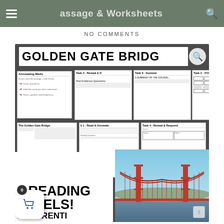Passage & Worksheets
NO COMMENTS
[Figure (illustration): Golden Gate Bridge reading passage and worksheets product image showing multiple worksheet pages fanned out with bold title 'GOLDEN GATE BRIDGE', worksheets including Annotating Marks, Task 1 Read & Annotate, Task 2 Vocabulary, Task 3 Reread & D, Task 4 Reread & Respond, Task 5 Summary, The Golden Gate Bridge passage, plus a photo of the Golden Gate Bridge and text '2 READING LEVELS! DIFFERENTIATED']